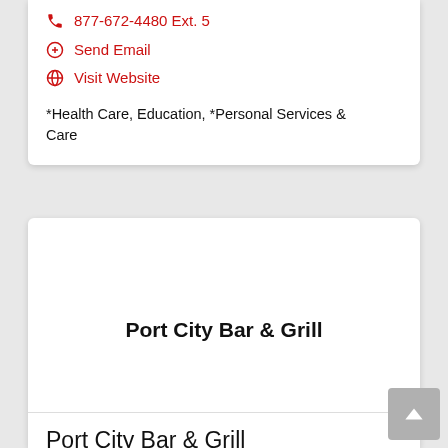📞 877-672-4480 Ext. 5
@ Send Email
🌐 Visit Website
*Health Care, Education, *Personal Services & Care
Port City Bar & Grill
Port City Bar & Grill
📞 (310) 616-6942
@ Send Email